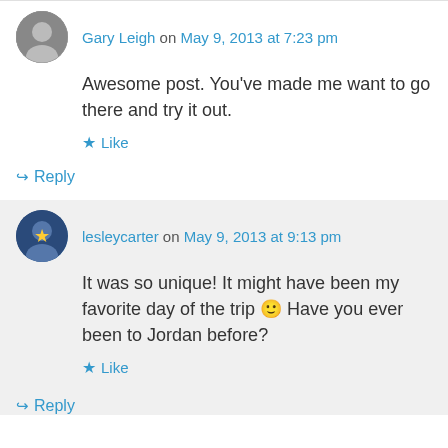Gary Leigh on May 9, 2013 at 7:23 pm
Awesome post. You've made me want to go there and try it out.
Like
↳ Reply
lesleycarter on May 9, 2013 at 9:13 pm
It was so unique! It might have been my favorite day of the trip 🙂 Have you ever been to Jordan before?
Like
↳ Reply